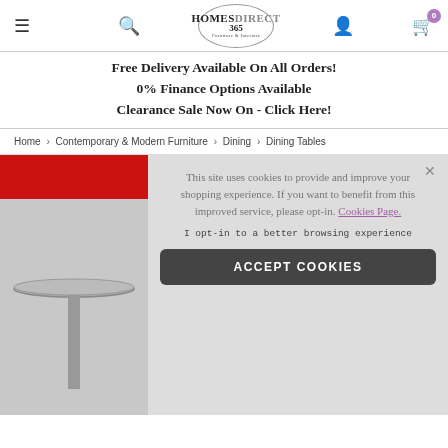HOMESDIRECT 365 Furniture & Interiors navigation header with menu, search, account, and cart icons
Free Delivery Available On All Orders!
0% Finance Options Available
Clearance Sale Now On - Click Here!
Home > Contemporary & Modern Furniture > Dining > Dining Tables
[Figure (screenshot): Product listing page showing a dining table with a red sale banner, overlaid by a cookie consent popup]
This site uses cookies to provide and improve your shopping experience. If you want to benefit from this improved service, please opt-in. Cookies Page.
I opt-in to a better browsing experience
ACCEPT COOKIES